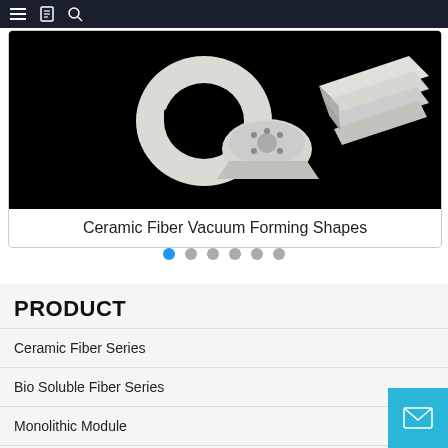Navigation bar with menu, bookmark, and search icons
[Figure (photo): White ceramic fiber vacuum forming shapes — a round disc with hole, a cylindrical base piece, and stacked flat rectangular slabs — photographed against a black background]
Ceramic Fiber Vacuum Forming Shapes
PRODUCT
Ceramic Fiber Series
Bio Soluble Fiber Series
Monolithic Module
Polycrystalline Fiber/Alumina Fiber Bulk/Blanket